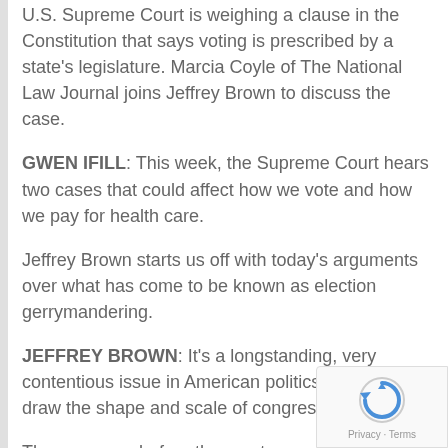U.S. Supreme Court is weighing a clause in the Constitution that says voting is prescribed by a state's legislature. Marcia Coyle of The National Law Journal joins Jeffrey Brown to discuss the case.
GWEN IFILL: This week, the Supreme Court hears two cases that could affect how we vote and how we pay for health care.
Jeffrey Brown starts us off with today's arguments over what has come to be known as election gerrymandering.
JEFFREY BROWN: It's a longstanding, very contentious issue in American politics. Who should draw the shape and scale of congressional distri...
The case now before the court comes from Arizona,